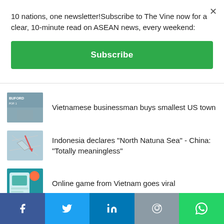10 nations, one newsletter!Subscribe to The Vine now for a clear, 10-minute read on ASEAN news, every weekend:
Subscribe
Vietnamese businessman buys smallest US town
Indonesia declares "North Natuna Sea" - China: "Totally meaningless"
Online game from Vietnam goes viral